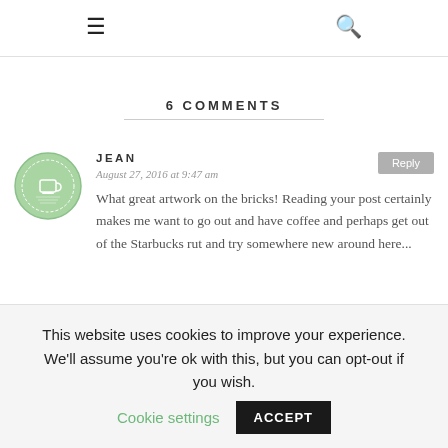≡  🔍
6 COMMENTS
JEAN
August 27, 2016 at 9:47 am
What great artwork on the bricks! Reading your post certainly makes me want to go out and have coffee and perhaps get out of the Starbucks rut and try somewhere new around here...
This website uses cookies to improve your experience. We'll assume you're ok with this, but you can opt-out if you wish. Cookie settings  ACCEPT